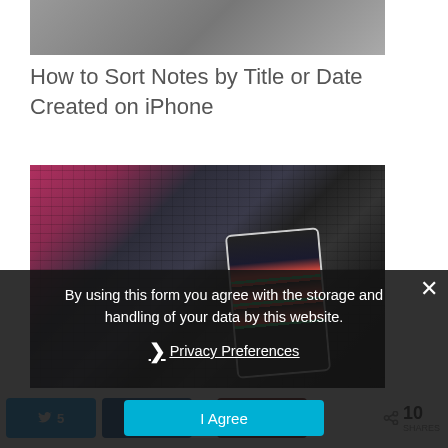[Figure (photo): Partial top photo of a person, cropped]
How to Sort Notes by Title or Date Created on iPhone
[Figure (photo): Person holding iPhone showing stock data next to a laptop keyboard]
By using this form you agree with the storage and handling of your data by this website.
❯ Privacy Preferences
I Agree